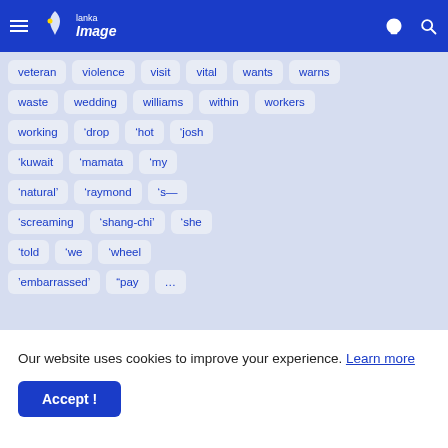Lanka Image
veteran
violence
visit
vital
wants
warns
waste
wedding
williams
within
workers
working
&#8216;drop
&#8216;hot
&#8216;josh
&#8216;kuwait
&#8216;mamata
&#8216;my
&#8216;natural&#8217;
&#8216;raymond
&#8216;s&#8212;
&#8216;screaming
&#8216;shang-chi&#8217;
&#8216;she
&#8216;told
&#8216;we
&#8216;wheel
&#8217;embarrassed&#8217;
&#8220;pay
&#8230;
Our website uses cookies to improve your experience. Learn more
Accept !